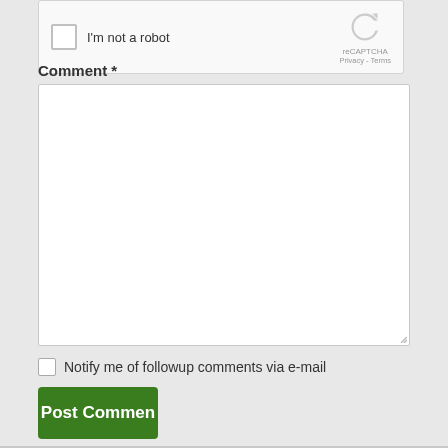[Figure (screenshot): reCAPTCHA widget showing checkbox labeled 'I'm not a robot' with reCAPTCHA logo, Privacy and Terms links]
Comment *
[Figure (screenshot): Large empty comment textarea input box]
Notify me of followup comments via e-mail
Post Comment